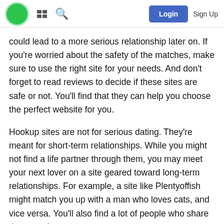Login  Sign Up
could lead to a more serious relationship later on. If you're worried about the safety of the matches, make sure to use the right site for your needs. And don't forget to read reviews to decide if these sites are safe or not. You'll find that they can help you choose the perfect website for you.
Hookup sites are not for serious dating. They're meant for short-term relationships. While you might not find a life partner through them, you may meet your next lover on a site geared toward long-term relationships. For example, a site like Plentyoffish might match you up with a man who loves cats, and vice versa. You'll also find a lot of people who share the same interests as you.